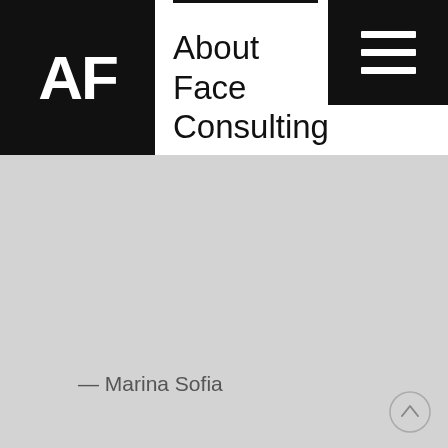[Figure (logo): About Face Consulting logo: black square with white bold letters 'AF', next to company name 'About Face Consulting' with a top border line, and a black hamburger menu icon in the top right]
— Marina Sofia